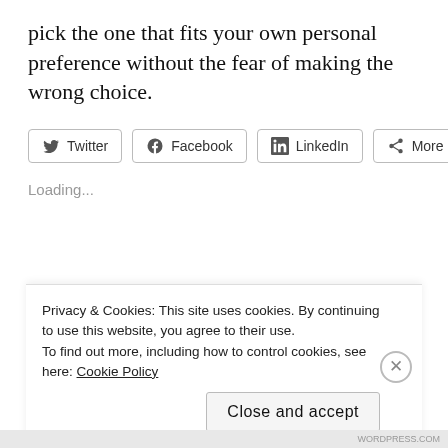pick the one that fits your own personal preference without the fear of making the wrong choice.
[Figure (screenshot): Social share buttons: Twitter, Facebook, LinkedIn, More]
Loading...
Privacy & Cookies: This site uses cookies. By continuing to use this website, you agree to their use. To find out more, including how to control cookies, see here: Cookie Policy
Close and accept